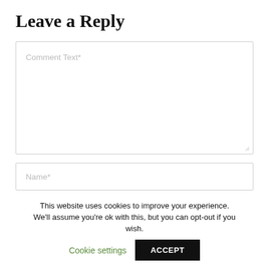Leave a Reply
[Figure (screenshot): Comment text area form field with placeholder text 'Comment Text*' and resize handle]
[Figure (screenshot): Name input field with placeholder text 'Name*']
[Figure (screenshot): Email input field with placeholder text 'Email*']
This website uses cookies to improve your experience. We'll assume you're ok with this, but you can opt-out if you wish.
Cookie settings
ACCEPT